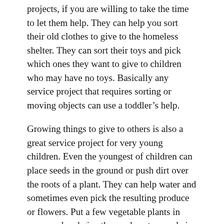projects, if you are willing to take the time to let them help. They can help you sort their old clothes to give to the homeless shelter. They can sort their toys and pick which ones they want to give to children who may have no toys. Basically any service project that requires sorting or moving objects can use a toddler's help.
Growing things to give to others is also a great service project for very young children. Even the youngest of children can place seeds in the ground or push dirt over the roots of a plant. They can help water and sometimes even pick the resulting produce or flowers. Put a few vegetable plants in your yard and give the produce to people in your neighborhood or church who could use a little extra help. Some food banks even want fresh produce. If you grow flowers, cut some and take them to a resident of an assisted living home or a shut-in from